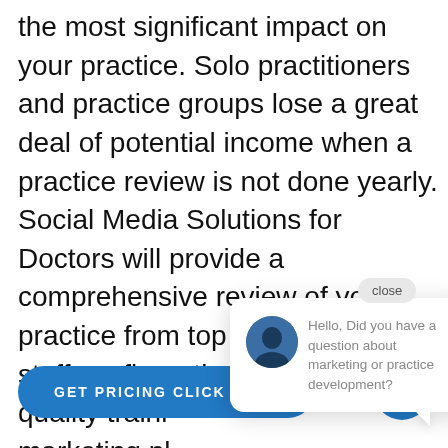the most significant impact on your practice. Solo practitioners and practice groups lose a great deal of potential income when a practice review is not done yearly. Social Media Solutions for Doctors will provide a comprehensive review of your practice from top to bottom. From staff configuration, quality training, marketing plans, the investment, Call for a per
[Figure (screenshot): Chat popup overlay with avatar, close button, and message: Hello, Did you have a question about marketing or practice development?]
[Figure (other): GET PRICING CLICK HERE blue rounded button and blue chat icon button]